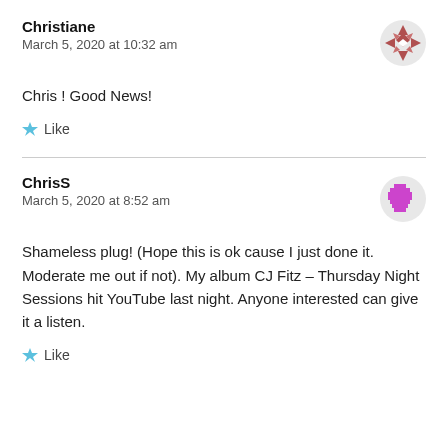Christiane
March 5, 2020 at 10:32 am
Chris ! Good News!
Like
ChrisS
March 5, 2020 at 8:52 am
Shameless plug! (Hope this is ok cause I just done it. Moderate me out if not). My album CJ Fitz – Thursday Night Sessions hit YouTube last night. Anyone interested can give it a listen.
Like